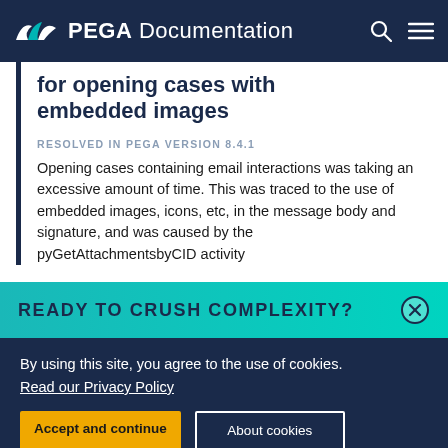PEGA Documentation
for opening cases with embedded images
RESOLVED IN PEGA VERSION 8.4.1
Opening cases containing email interactions was taking an excessive amount of time. This was traced to the use of embedded images, icons, etc, in the message body and signature, and was caused by the pyGetAttachmentsbyCID activity
READY TO CRUSH COMPLEXITY?
By using this site, you agree to the use of cookies.
Read our Privacy Policy
Accept and continue
About cookies